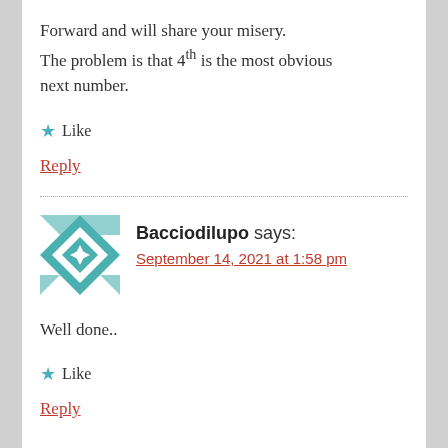Forward and will share your misery.
The problem is that 4th is the most obvious next number.
★ Like
Reply
Bacciodilupo says:
September 14, 2021 at 1:58 pm
Well done..
★ Like
Reply